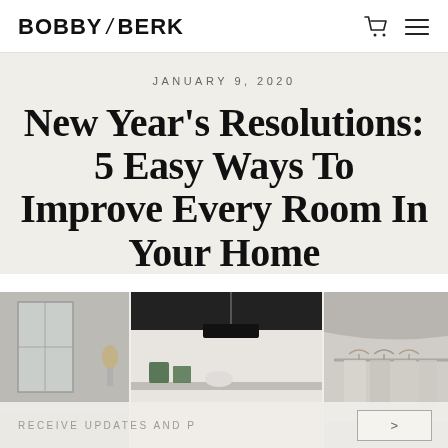BOBBY / BERK
JANUARY 9, 2020
New Year’s Resolutions: 5 Easy Ways To Improve Every Room In Your Home
[Figure (photo): Three interior home photos side by side: left shows a bathroom or hallway with a window and wall sconce, center shows a kitchen or living area with a black pendant lamp above a counter, right shows a closet or wardrobe area with hanging clothes on a rail.]
RECEIVE UPDATES AND P